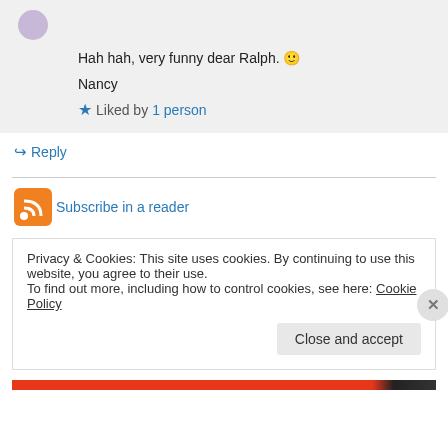Hah hah, very funny dear Ralph. 🙂
Nancy
★ Liked by 1 person
↪ Reply
[Figure (logo): RSS feed orange icon]
Subscribe in a reader
Privacy & Cookies: This site uses cookies. By continuing to use this website, you agree to their use.
To find out more, including how to control cookies, see here: Cookie Policy
Close and accept